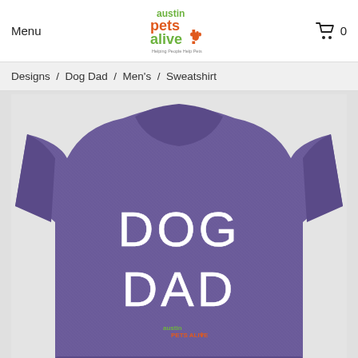Menu | Austin Pets Alive! logo | Cart 0
Designs / Dog Dad / Men's / Sweatshirt
[Figure (photo): Purple heather crewneck sweatshirt with 'DOG DAD' printed in large white letters and 'Austin Pets Alive!' logo below in green and orange text]